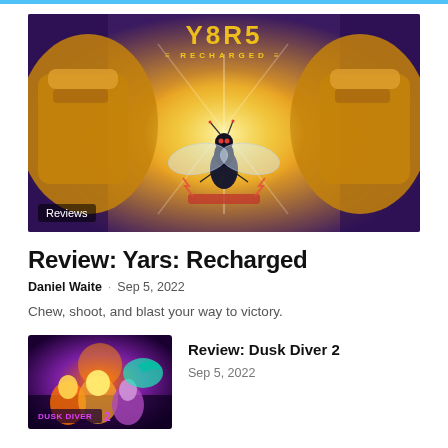[Figure (illustration): Hero image for Review: Yars Recharged — a stylized illustration showing a large robotic/purple fist background with a bright yellow-orange glow and a fly-like insect character with transparent wings standing center. 'YARS RECHARGED' logo text at top in gold. 'Reviews' badge at bottom-left.]
Review: Yars: Recharged
Daniel Waite · Sep 5, 2022
Chew, shoot, and blast your way to victory.
[Figure (illustration): Thumbnail image for Review: Dusk Diver 2 — colorful anime action game art with characters and enemies on a dark background. 'Dusk Diver 2' logo visible.]
Review: Dusk Diver 2
Sep 5, 2022